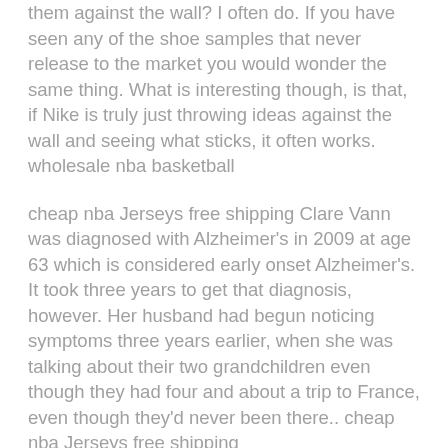them against the wall? I often do. If you have seen any of the shoe samples that never release to the market you would wonder the same thing. What is interesting though, is that, if Nike is truly just throwing ideas against the wall and seeing what sticks, it often works. wholesale nba basketball
cheap nba Jerseys free shipping Clare Vann was diagnosed with Alzheimer's in 2009 at age 63 which is considered early onset Alzheimer's. It took three years to get that diagnosis, however. Her husband had begun noticing symptoms three years earlier, when she was talking about their two grandchildren even though they had four and about a trip to France, even though they'd never been there.. cheap nba Jerseys free shipping
cheap nba jerseys Waiting till a baby is born before getting to know whether it's a